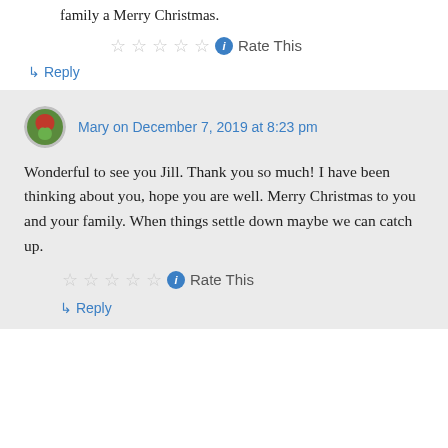Beautiful piece, Mary. Wishing you and your family a Merry Christmas.
Rate This
↳ Reply
Mary on December 7, 2019 at 8:23 pm
Wonderful to see you Jill. Thank you so much! I have been thinking about you, hope you are well. Merry Christmas to you and your family. When things settle down maybe we can catch up.
Rate This
↳ Reply